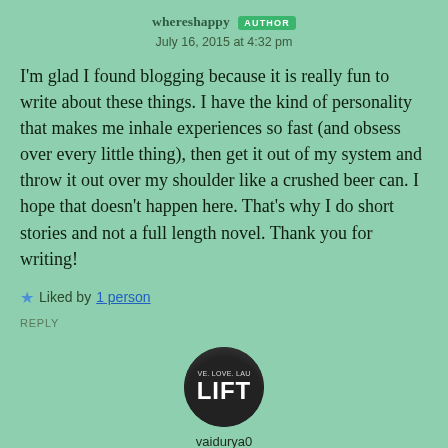whereshappy AUTHOR
July 16, 2015 at 4:32 pm
I'm glad I found blogging because it is really fun to write about these things. I have the kind of personality that makes me inhale experiences so fast (and obsess over every little thing), then get it out of my system and throw it out over my shoulder like a crushed beer can. I hope that doesn't happen here. That's why I do short stories and not a full length novel. Thank you for writing!
★ Liked by 1 person
REPLY
[Figure (logo): Circular avatar/logo showing 'LIVE. LOVE. LAUGH. LIFT' text with large bold LIFT text on dark background]
vaidurya0